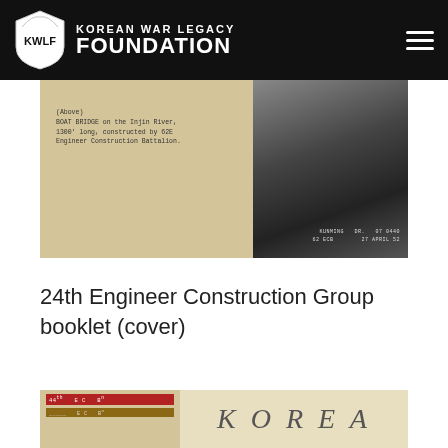Korean War Legacy Foundation
[Figure (photo): Historical black and white photograph of a boat bridge on the Injin River, 1300 feet long, constructed by 62E Engineer Construction Battalion. Stamp reads: KUNMING DR. 07 0440 62 ECB 27 APRIL 52]
24th Engineer Construction Group booklet (cover)
[Figure (photo): Bottom portion of historical document showing red and brown labels on the left side and the word KOREA written in cursive on the right side]